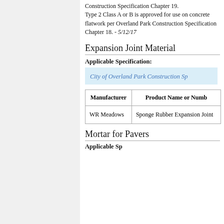Construction Specification Chapter 19. Type 2 Class A or B is approved for use on concrete flatwork per Overland Park Construction Specification Chapter 18. - 5/12/17
Expansion Joint Material
Applicable Specification:
City of Overland Park Construction Sp...
| Manufacturer | Product Name or Number |
| --- | --- |
| WR Meadows | Sponge Rubber Expansion Joint |
Mortar for Pavers
Applicable Specification: